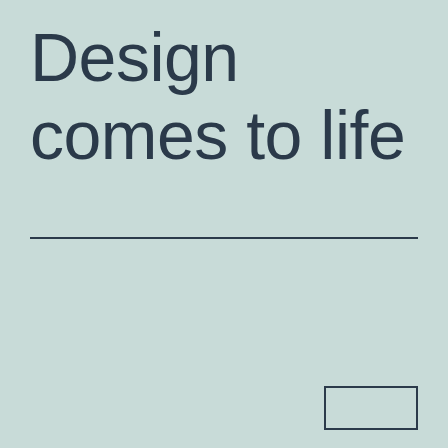Design comes to life
[Figure (other): Decorative horizontal rule divider line in dark navy color]